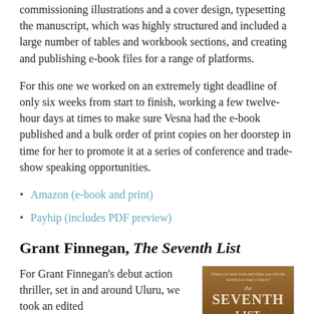commissioning illustrations and a cover design, typesetting the manuscript, which was highly structured and included a large number of tables and workbook sections, and creating and publishing e-book files for a range of platforms.
For this one we worked on an extremely tight deadline of only six weeks from start to finish, working a few twelve-hour days at times to make sure Vesna had the e-book published and a bulk order of print copies on her doorstep in time for her to promote it at a series of conference and trade-show speaking opportunities.
Amazon (e-book and print)
Payhip (includes PDF preview)
Grant Finnegan, The Seventh List
For Grant Finnegan’s debut action thriller, set in and around Uluru, we took an edited
[Figure (photo): Book cover of 'The Seventh List' by Grant Finnegan, with brown/tan textured background and large title text]